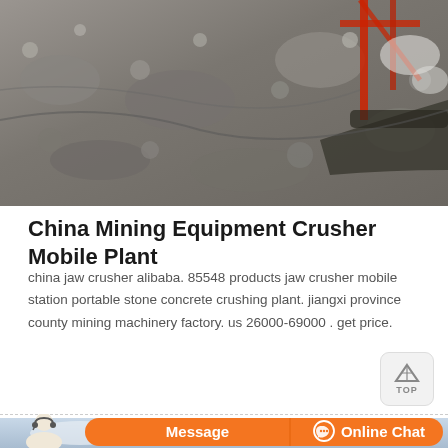[Figure (photo): Aerial/close-up photo of crushed stone and mining/crushing machinery with red structural frame visible in the upper right]
China Mining Equipment Crusher Mobile Plant
china jaw crusher alibaba. 85548 products jaw crusher mobile station portable stone concrete crushing plant. jiangxi province county mining machinery factory. us 26000-69000 . get price.
[Figure (photo): Photo of mobile crushing plant equipment at a quarry/mining site with blue sky and clouds in background, yellow construction machinery visible on right]
Message
Online Chat